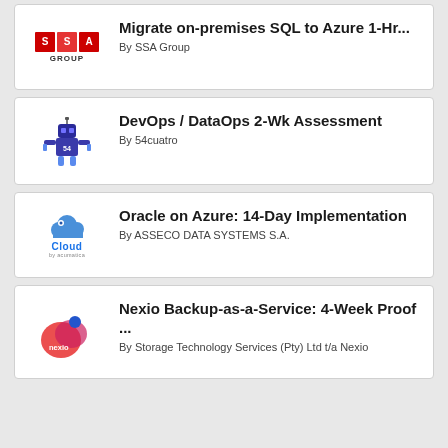[Figure (logo): SSA Group logo with red tiles spelling SSA and GROUP text below]
Migrate on-premises SQL to Azure 1-Hr...
By SSA Group
[Figure (illustration): 54cuatro robot mascot illustration]
DevOps / DataOps 2-Wk Assessment
By 54cuatro
[Figure (logo): Asseco Cloud logo with blue cloud icon and Cloud text]
Oracle on Azure: 14-Day Implementation
By ASSECO DATA SYSTEMS S.A.
[Figure (logo): Nexio logo with colorful blob shape and nexio text]
Nexio Backup-as-a-Service: 4-Week Proof ...
By Storage Technology Services (Pty) Ltd t/a Nexio